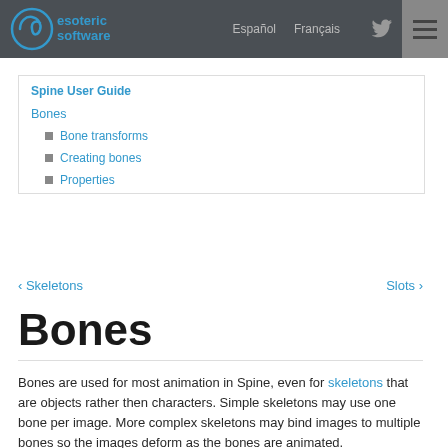esoteric software | Español | Français
Spine User Guide
Bones
Bone transforms
Creating bones
Properties
< Skeletons    Slots >
Bones
Bones are used for most animation in Spine, even for skeletons that are objects rather then characters. Simple skeletons may use one bone per image. More complex skeletons may bind images to multiple bones so the images deform as the bones are animated.